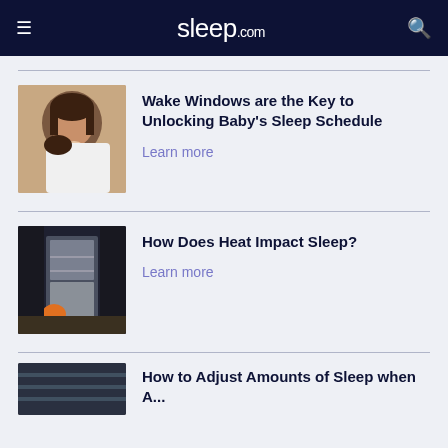sleep.com
[Figure (photo): A mother holding a sleeping baby, cuddling close]
Wake Windows are the Key to Unlocking Baby's Sleep Schedule
Learn more
[Figure (photo): Person opening a refrigerator, with orange item visible, in a dark kitchen setting]
How Does Heat Impact Sleep?
Learn more
[Figure (photo): Partial view of a third article image at the bottom of the page]